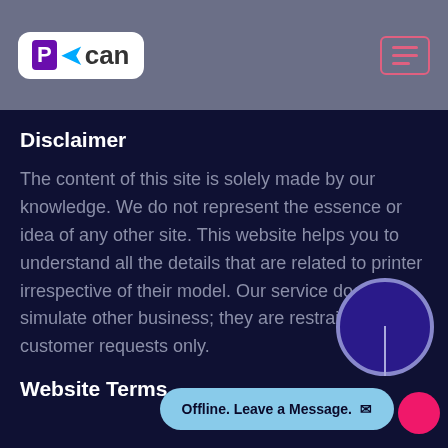[Figure (logo): PScan logo with purple P icon and blue arrow, text 'Scan' in dark color, on white rounded box background]
[Figure (other): Hamburger menu icon with three lines, outlined in pink/magenta, in top right corner]
Disclaimer
The content of this site is solely made by our knowledge. We do not represent the essence or idea of any other site. This website helps you to understand all the details that are related to printer irrespective of their model. Our service does not simulate other business; they are restrained to customer requests only.
Website Terms
Offline. Leave a Message.